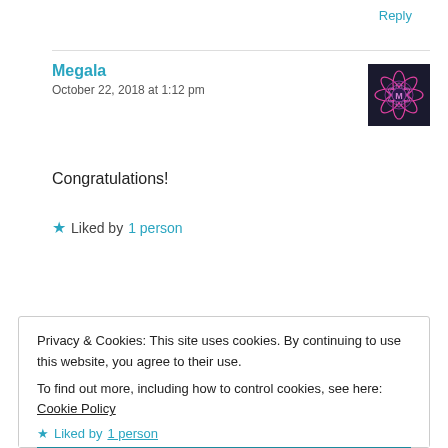Reply
Megala
October 22, 2018 at 1:12 pm
[Figure (illustration): Avatar image for user Megala: dark background with a decorative mandala/lotus flower in pink and purple with letter M in the center]
Congratulations!
★ Liked by 1 person
Reply
Privacy & Cookies: This site uses cookies. By continuing to use this website, you agree to their use.
To find out more, including how to control cookies, see here: Cookie Policy
Close and accept
★ Liked by 1 person